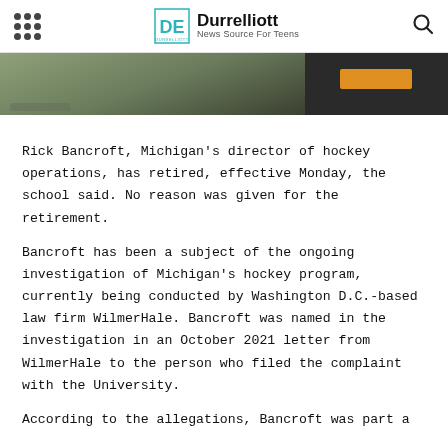Durrelliott — News Source For Teens
[Figure (photo): Aerial photo of a building/facility, partially obscured by a dark overlay with an orange call-to-action button]
Rick Bancroft, Michigan's director of hockey operations, has retired, effective Monday, the school said. No reason was given for the retirement.
Bancroft has been a subject of the ongoing investigation of Michigan's hockey program, currently being conducted by Washington D.C.-based law firm WilmerHale. Bancroft was named in the investigation in an October 2021 letter from WilmerHale to the person who filed the complaint with the University.
According to the allegations, Bancroft was part a